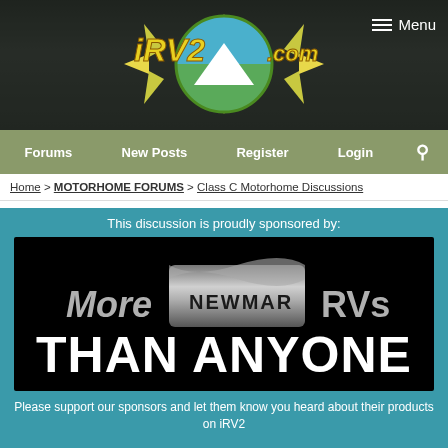[Figure (logo): iRV2.com logo with compass/sun design and mountain landscape in circle]
Menu
Forums
New Posts
Register
Login
Home > MOTORHOME FORUMS > Class C Motorhome Discussions
This discussion is proudly sponsored by:
[Figure (illustration): Newmar RVs advertisement on black background reading 'More NEWMAR RVs THAN ANYONE']
Please support our sponsors and let them know you heard about their products on iRV2